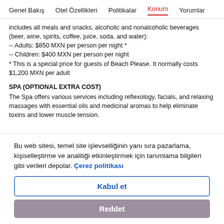Genel Bakış   Otel Özellikleri   Politikalar   Konum   Yorumlar
includes all meals and snacks, alcoholic and nonalcoholic beverages (beer, wine, spirits, coffee, juice, soda, and water):
-- Adults: $850 MXN per person per night *
-- Children: $400 MXN per person per night
* This is a special price for guests of Beach Please. It normally costs $1,200 MXN per adult
SPA (OPTIONAL EXTRA COST)
The Spa offers various services including reflexology, facials, and relaxing massages with essential oils and medicinal aromas to help eliminate toxins and lower muscle tension.
Bu web sitesi, temel site işlevselliğinin yanı sıra pazarlama, kişiselleştirme ve analitiği etkinleştirmek için tanımlama bilgileri gibi verileri depolar. Çerez politikası
Kabul et
Reddet